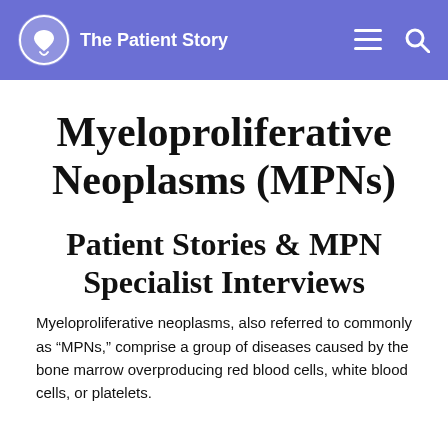The Patient Story
Myeloproliferative Neoplasms (MPNs)
Patient Stories & MPN Specialist Interviews
Myeloproliferative neoplasms, also referred to commonly as “MPNs,” comprise a group of diseases caused by the bone marrow overproducing red blood cells, white blood cells, or platelets.